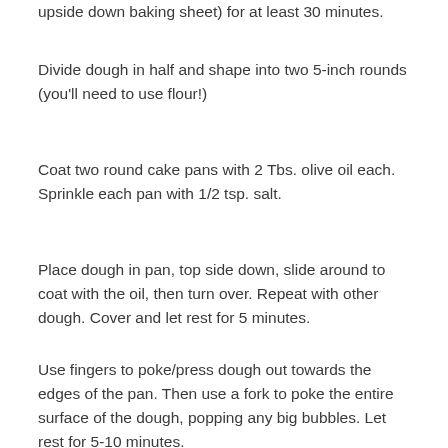upside down baking sheet) for at least 30 minutes.
Divide dough in half and shape into two 5-inch rounds (you'll need to use flour!)
Coat two round cake pans with 2 Tbs. olive oil each. Sprinkle each pan with 1/2 tsp. salt.
Place dough in pan, top side down, slide around to coat with the oil, then turn over. Repeat with other dough. Cover and let rest for 5 minutes.
Use fingers to poke/press dough out towards the edges of the pan. Then use a fork to poke the entire surface of the dough, popping any big bubbles. Let rest for 5-10 minutes.